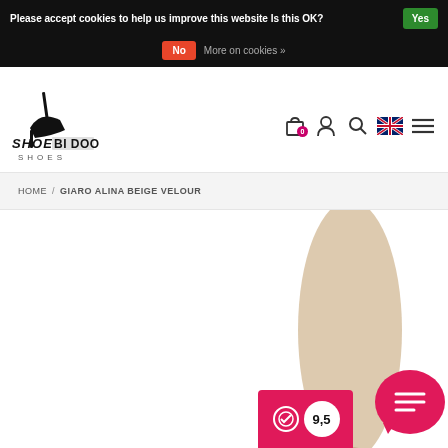Please accept cookies to help us improve this website Is this OK? Yes | No | More on cookies »
[Figure (logo): Shoe Bidoo Shoes logo with high heel silhouette]
HOME / GIARO ALINA BEIGE VELOUR
[Figure (photo): Beige velour high heel shoe product photo, partially visible at bottom right, with rating badge showing 9,5]